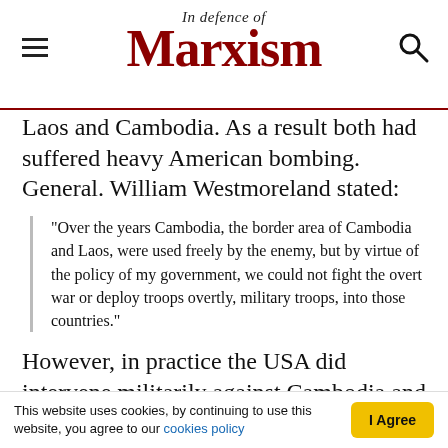In Defence of Marxism
Laos and Cambodia. As a result both had suffered heavy American bombing. General. William Westmoreland stated:
"Over the years Cambodia, the border area of Cambodia and Laos, were used freely by the enemy, but by virtue of the policy of my government, we could not fight the overt war or deploy troops overtly, military troops, into those countries."
However, in practice the USA did intervene militarily against Cambodia and Laos, violating their neutrality. In particular, Cambodia was
This website uses cookies, by continuing to use this website, you agree to our cookies policy